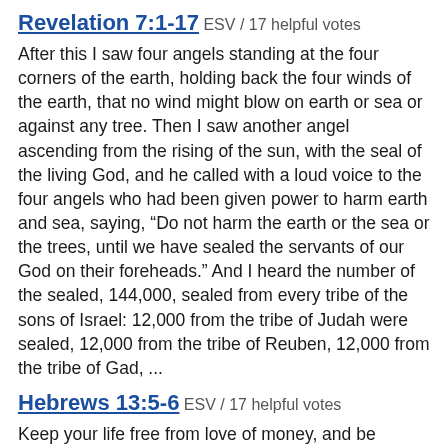Revelation 7:1-17 ESV / 17 helpful votes
After this I saw four angels standing at the four corners of the earth, holding back the four winds of the earth, that no wind might blow on earth or sea or against any tree. Then I saw another angel ascending from the rising of the sun, with the seal of the living God, and he called with a loud voice to the four angels who had been given power to harm earth and sea, saying, “Do not harm the earth or the sea or the trees, until we have sealed the servants of our God on their foreheads.” And I heard the number of the sealed, 144,000, sealed from every tribe of the sons of Israel: 12,000 from the tribe of Judah were sealed, 12,000 from the tribe of Reuben, 12,000 from the tribe of Gad, ...
Hebrews 13:5-6 ESV / 17 helpful votes
Keep your life free from love of money, and be content with what you have, for he has said, “I will never leave you nor forsake you.” So we can confidently say, “The Lord is my helper; I will not fear; what can man do to me?”